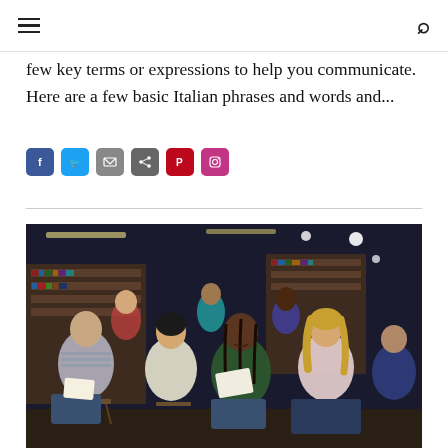few key terms or expressions to help you communicate. Here are a few basic Italian phrases and words and...
[Figure (other): Social share buttons: Facebook (blue), Twitter (blue), Email (grey), Share (grey), Pinterest (red), Instagram (red/orange)]
[Figure (photo): Group of diverse students sitting in a library/classroom setting, smiling and looking forward, with bookshelves in the background]